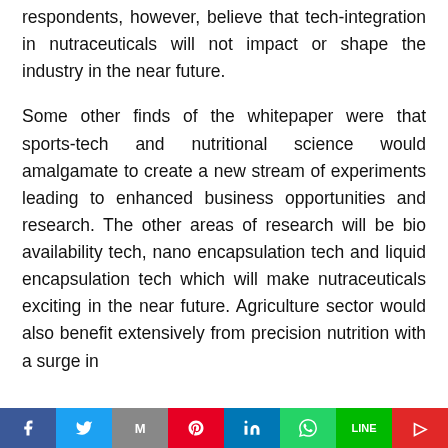respondents, however, believe that tech-integration in nutraceuticals will not impact or shape the industry in the near future.
Some other finds of the whitepaper were that sports-tech and nutritional science would amalgamate to create a new stream of experiments leading to enhanced business opportunities and research. The other areas of research will be bio availability tech, nano encapsulation tech and liquid encapsulation tech which will make nutraceuticals exciting in the near future. Agriculture sector would also benefit extensively from precision nutrition with a surge in
Social share bar: Facebook, Twitter, Gmail, Pinterest, LinkedIn, WhatsApp, LINE, Flipboard